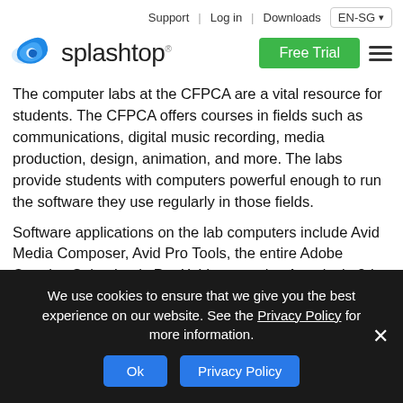Support | Log in | Downloads | EN-SG
[Figure (logo): Splashtop logo with blue splash icon and text 'splashtop']
The computer labs at the CFPCA are a vital resource for students. The CFPCA offers courses in fields such as communications, digital music recording, media production, design, animation, and more. The labs provide students with computers powerful enough to run the software they use regularly in those fields.
Software applications on the lab computers include Avid Media Composer, Avid Pro Tools, the entire Adobe Creative Suite, Logic Pro X, Vectorworks, Autodesk, 3ds Max, and more.
When COVID-19 shut down the Wayne State campus, students were unable to go to the computer labs in-person.
Chris Gilbert, Application technical Analyst at the CFPCA, said that students didn't have computers that were powerful enough to run the
We use cookies to ensure that we give you the best experience on our website. See the Privacy Policy for more information.